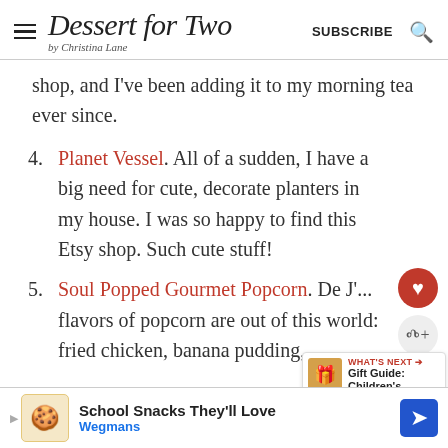Dessert for Two by Christina Lane | SUBSCRIBE
shop, and I've been adding it to my morning tea ever since.
4. Planet Vessel. All of a sudden, I have a big need for cute, decorate planters in my house. I was so happy to find this Etsy shop. Such cute stuff!
5. Soul Popped Gourmet Popcorn. De J'... flavors of popcorn are out of the world: fried chicken, banana pudding,
[Figure (other): Advertisement bar: School Snacks They'll Love - Wegmans]